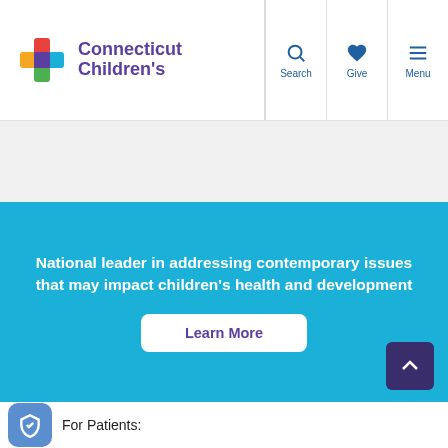[Figure (logo): Connecticut Children's logo with colorful cross icon and purple text]
National leader in addressing contemporary issues that may impact children's health and development
Learn More
For Patients: